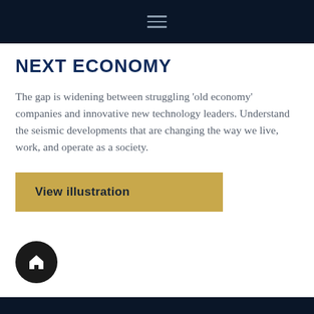≡
NEXT ECONOMY
The gap is widening between struggling 'old economy' companies and innovative new technology leaders. Understand the seismic developments that are changing the way we live, work, and operate as a society.
[Figure (other): Gold/tan button labeled 'View illustration']
[Figure (other): Black circular home icon button]